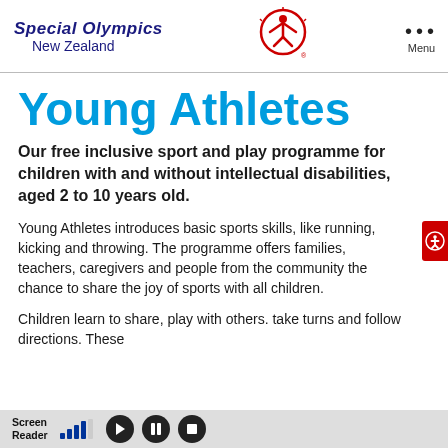Special Olympics New Zealand — Menu
Young Athletes
Our free inclusive sport and play programme for children with and without intellectual disabilities, aged 2 to 10 years old.
Young Athletes introduces basic sports skills, like running, kicking and throwing. The programme offers families, teachers, caregivers and people from the community the chance to share the joy of sports with all children.
Children learn to share, play with others. take turns and follow directions. These